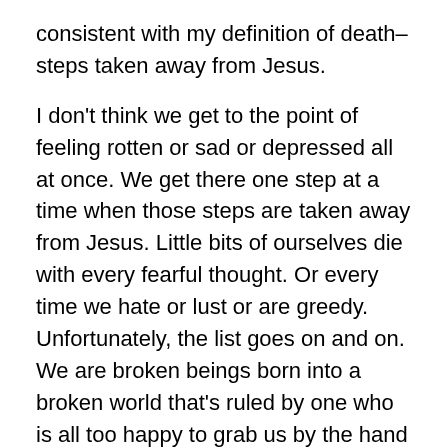consistent with my definition of death–steps taken away from Jesus.
I don't think we get to the point of feeling rotten or sad or depressed all at once. We get there one step at a time when those steps are taken away from Jesus. Little bits of ourselves die with every fearful thought. Or every time we hate or lust or are greedy. Unfortunately, the list goes on and on. We are broken beings born into a broken world that's ruled by one who is all too happy to grab us by the hand and lead us down any of those broken paths, smiling his oily grin the whole way.
Yikes! So how can we break out of that frightfully depressing pattern? Can these chains be broken?
YES! All we have to do is call upon our Saviour and He